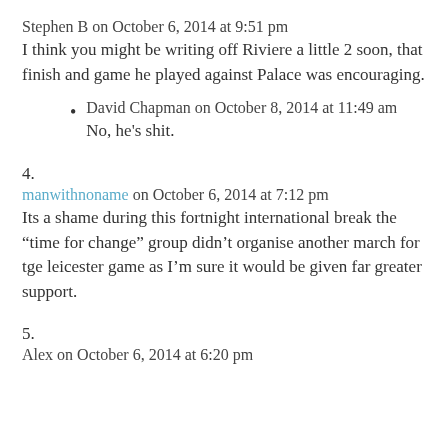Stephen B on October 6, 2014 at 9:51 pm
I think you might be writing off Riviere a little 2 soon, that finish and game he played against Palace was encouraging.
David Chapman on October 8, 2014 at 11:49 am
No, he's shit.
4.
manwithnoname on October 6, 2014 at 7:12 pm
Its a shame during this fortnight international break the “time for change” group didn’t organise another march for tge leicester game as I’m sure it would be given far greater support.
5.
Alex on October 6, 2014 at 6:20 pm